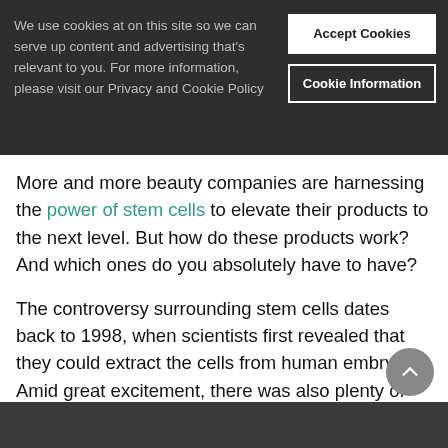We use cookies at on this site so we can serve up content and advertising that's relevant to you. For more information, please visit our Privacy and Cookie Policy
More and more beauty companies are harnessing the power of stem cells to elevate their products to the next level. But how do these products work? And which ones do you absolutely have to have?
The controversy surrounding stem cells dates back to 1998, when scientists first revealed that they could extract the cells from human embryos. Amid great excitement, there was also plenty of contention over the theory that stem cells might prove helpful in treating debilitating conditions—at the cost of the destruction of the embryo.